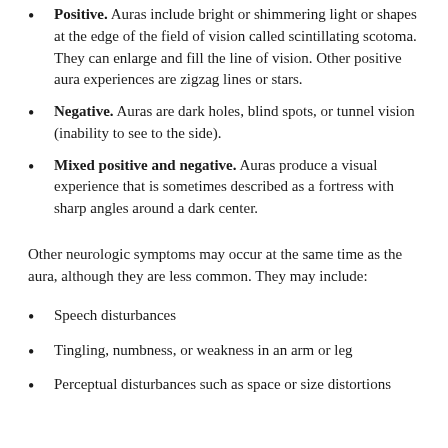Positive. Auras include bright or shimmering light or shapes at the edge of the field of vision called scintillating scotoma. They can enlarge and fill the line of vision. Other positive aura experiences are zigzag lines or stars.
Negative. Auras are dark holes, blind spots, or tunnel vision (inability to see to the side).
Mixed positive and negative. Auras produce a visual experience that is sometimes described as a fortress with sharp angles around a dark center.
Other neurologic symptoms may occur at the same time as the aura, although they are less common. They may include:
Speech disturbances
Tingling, numbness, or weakness in an arm or leg
Perceptual disturbances such as space or size distortions